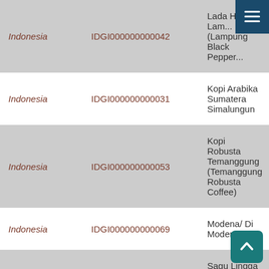| Country | ID | Name |
| --- | --- | --- |
| Indonesia | IDGI000000000042 | Lada Hitam Lam... (Lampung Black Pepper... |
| Indonesia | IDGI000000000031 | Kopi Arabika Sumatera Simalungun |
| Indonesia | IDGI000000000053 | Kopi Robusta Temanggung (Temanggung Robusta Coffee) |
| Indonesia | IDGI000000000069 | Modena/ Di Modena |
| Indonesia | IDGI000000000085 | Sagu Lingga (Li... Sago) |